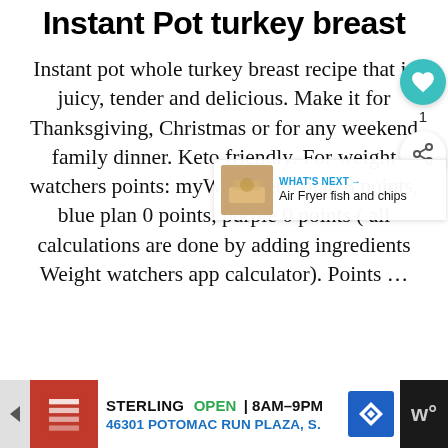Instant Pot turkey breast
Instant pot whole turkey breast recipe that is juicy, tender and delicious. Make it for Thanksgiving, Christmas or for any weekend family dinner. Keto friendly. For weight watchers points: myWW green plan 8 points, blue plan 0 points, purple 0 points ( all calculations are done by adding ingredients Weight watchers app calculator). Points …
[Figure (other): READ MORE button — dark navy blue rectangular button with white text]
[Figure (other): Advertisement bar at bottom: Office Depot/OfficeMax logo, STERLING OPEN 8AM-9PM, 46301 POTOMAC RUN PLAZA, S.]
[Figure (other): Floating UI overlay: teal heart button with count 1, and share button; WHAT'S NEXT arrow with Air Fryer fish and chips thumbnail]